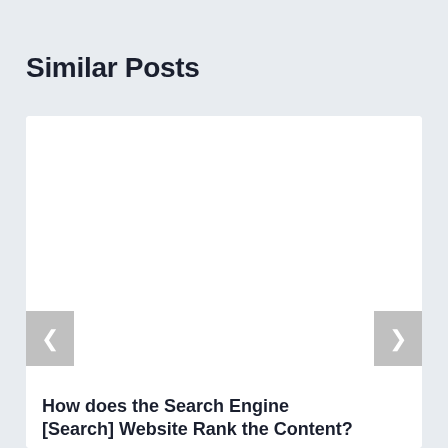Similar Posts
[Figure (screenshot): White card area with navigation arrows (left < and right >) for a similar posts carousel widget. The card shows a blank white image area.]
How does the Search Engine [Search] Website Rank the Content?